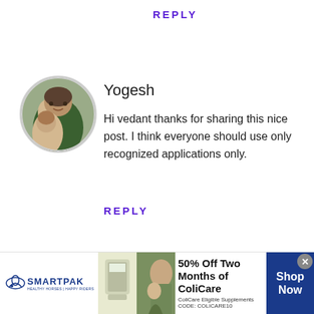REPLY
[Figure (photo): Circular avatar photo of a man with a child, used as commenter profile picture]
Yogesh
Hi vedant thanks for sharing this nice post. I think everyone should use only recognized applications only.
REPLY
[Figure (infographic): SmartPak advertisement banner showing logo, product image, horse and person photo, offer text '50% Off Two Months of ColiCare', 'ColiCare Eligible Supplements CODE: COLICARE10', and a Shop Now button]